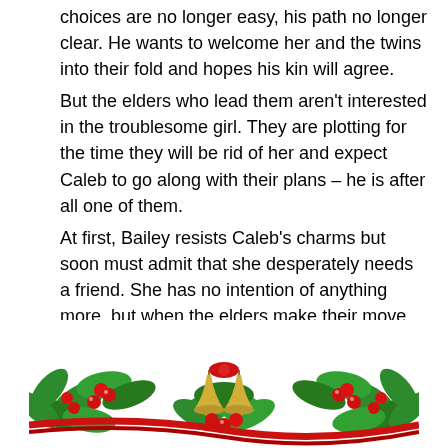choices are no longer easy, his path no longer clear. He wants to welcome her and the twins into their fold and hopes his kin will agree.
But the elders who lead them aren't interested in the troublesome girl. They are plotting for the time they will be rid of her and expect Caleb to go along with their plans – he is after all one of them.
At first, Bailey resists Caleb's charms but soon must admit that she desperately needs a friend. She has no intention of anything more, but when the elders make their move, she is forced to trust him with her very life. They both have hard lessons to learn. Relationships built on secrets and lies don't come with guarantees. When the world falls apart around them, some things are Irrevocable.
[Figure (illustration): A decorative Christmas holly wreath illustration with green holly leaves, red berries, red ribbon, and golden bells in the center, partially visible at the bottom of the page.]